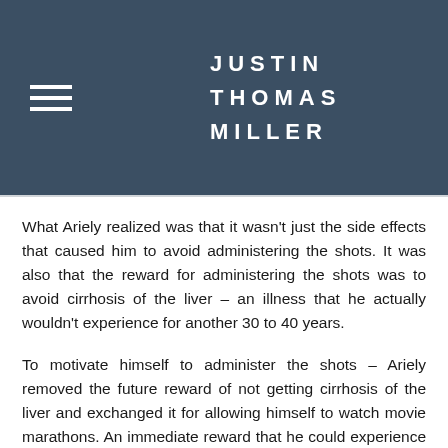JUSTIN THOMAS MILLER
What Ariely realized was that it wasn't just the side effects that caused him to avoid administering the shots. It was also that the reward for administering the shots was to avoid cirrhosis of the liver – an illness that he actually wouldn't experience for another 30 to 40 years.
To motivate himself to administer the shots – Ariely removed the future reward of not getting cirrhosis of the liver and exchanged it for allowing himself to watch movie marathons. An immediate reward that he could experience right away.
What's one immediate reward you can give yourself for practicing daily movement or eating a